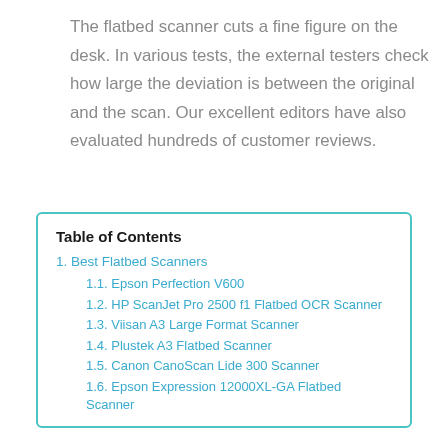The flatbed scanner cuts a fine figure on the desk. In various tests, the external testers check how large the deviation is between the original and the scan. Our excellent editors have also evaluated hundreds of customer reviews.
Table of Contents
1. Best Flatbed Scanners
1.1. Epson Perfection V600
1.2. HP ScanJet Pro 2500 f1 Flatbed OCR Scanner
1.3. Viisan A3 Large Format Scanner
1.4. Plustek A3 Flatbed Scanner
1.5. Canon CanoScan Lide 300 Scanner
1.6. Epson Expression 12000XL-GA Flatbed Scanner